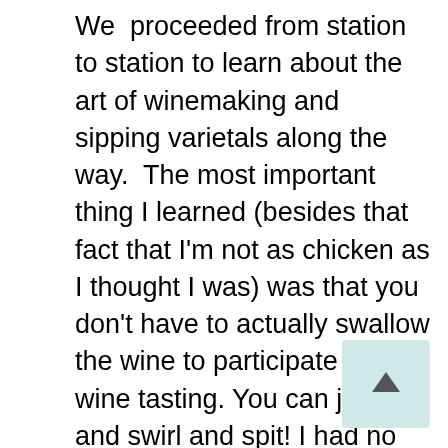We proceeded from station to station to learn about the art of winemaking and sipping varietals along the way. The most important thing I learned (besides that fact that I'm not as chicken as I thought I was) was that you don't have to actually swallow the wine to participate in a wine tasting. You can just sip and swirl and spit! I had no idea! For those of you who aren't in the know, there are three stages of taste: the Attack phase, the Evolution phase and the Finish. I don't know, it all seemed way too complex to me, but I do know that if I would have swallowed all that wine I wouldn't have been able to clear the driveway. But the few sips I did take gave me a little extra confidence for our next pit stop.
Next on the agenda was the Triple Creek Horse